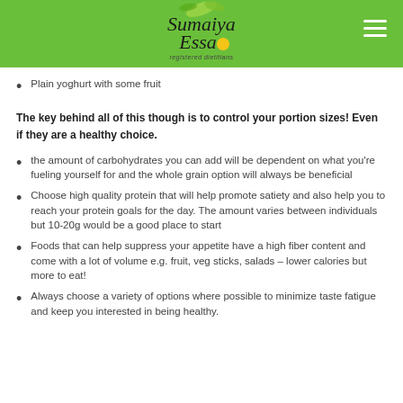[Figure (logo): Sumaiya Essa registered dietitians logo with green header background and hamburger menu icon]
Plain yoghurt with some fruit
The key behind all of this though is to control your portion sizes! Even if they are a healthy choice.
the amount of carbohydrates you can add will be dependent on what you're fueling yourself for and the whole grain option will always be beneficial
Choose high quality protein that will help promote satiety and also help you to reach your protein goals for the day. The amount varies between individuals but 10-20g would be a good place to start
Foods that can help suppress your appetite have a high fiber content and come with a lot of volume e.g. fruit, veg sticks, salads – lower calories but more to eat!
Always choose a variety of options where possible to minimize taste fatigue and keep you interested in being healthy.